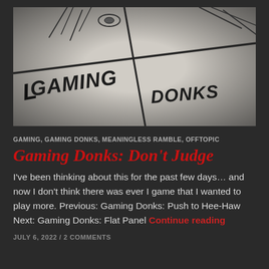[Figure (photo): Photograph of hand-drawn comic/sketch panels showing the words 'Gaming Donks' written in stylized lettering on paper, with rough pencil drawings visible]
GAMING, GAMING DONKS, MEANINGLESS RAMBLE, OFFTOPIC
Gaming Donks: Don't Judge
I've been thinking about this for the past few days… and now I don't think there was ever I game that I wanted to play more. Previous: Gaming Donks: Push to Hee-Haw Next: Gaming Donks: Flat Panel Continue reading
JULY 6, 2022 / 2 COMMENTS